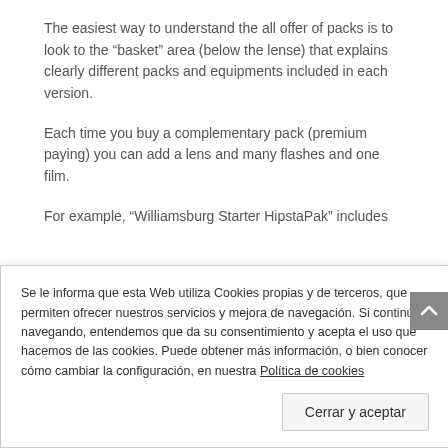The easiest way to understand the all offer of packs is to look to the “basket” area (below the lense) that explains clearly different packs and equipments included in each version.
Each time you buy a complementary pack (premium paying) you can add a lens and many flashes and one film.
For example, “Williamsburg Starter HipstaPak” includes
Se le informa que esta Web utiliza Cookies propias y de terceros, que permiten ofrecer nuestros servicios y mejora de navegación. Si continúa navegando, entendemos que da su consentimiento y acepta el uso que hacemos de las cookies. Puede obtener más información, o bien conocer cómo cambiar la configuración, en nuestra Política de cookies
Cerrar y aceptar
would